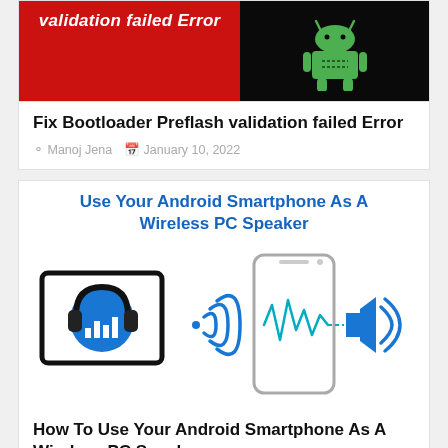[Figure (screenshot): Two-panel image: left panel shows red background with italic bold white text 'validation failed Error', right panel shows Android robot figure on black background]
Fix Bootloader Preflash validation failed Error
Manoj Jena   January 10, 2022
Use Your Android Smartphone As A Wireless PC Speaker
[Figure (illustration): Illustration showing a laptop/tablet with headphones icon, wireless signal waves, an Android smartphone, sound waves, and a speaker icon — representing using Android as wireless PC speaker]
How To Use Your Android Smartphone As A Wireless PC Speaker